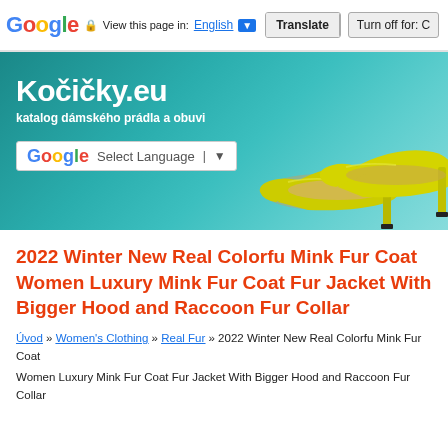Google  View this page in: English [▼]  Translate  Turn off for: C
[Figure (screenshot): Kočičky.eu website banner showing yellow high-heel shoes on a teal/turquoise background with site title 'Kočičky.eu' and subtitle 'katalog dámského prádla a obuvi', plus a Google Translate Select Language dropdown]
2022 Winter New Real Colorfu Mink Fur Coat Women Luxury Mink Fur Coat Fur Jacket With Bigger Hood and Raccoon Fur Collar
Úvod » Women's Clothing » Real Fur » 2022 Winter New Real Colorfu Mink Fur Coat Women Luxury Mink Fur Coat Fur Jacket With Bigger Hood and Raccoon Fur Collar